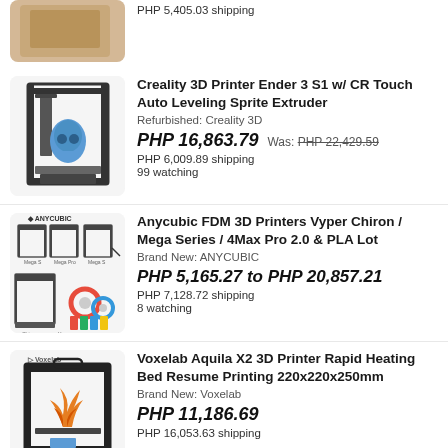PHP 5,405.03 shipping
Creality 3D Printer Ender 3 S1 w/ CR Touch Auto Leveling Sprite Extruder
Refurbished: Creality 3D
PHP 16,863.79  Was: PHP 22,429.59
PHP 6,009.89 shipping
99 watching
Anycubic FDM 3D Printers Vyper Chiron / Mega Series / 4Max Pro 2.0 & PLA Lot
Brand New: ANYCUBIC
PHP 5,165.27 to PHP 20,857.21
PHP 7,128.72 shipping
8 watching
Voxelab Aquila X2 3D Printer Rapid Heating Bed Resume Printing 220x220x250mm
Brand New: Voxelab
PHP 11,186.69
PHP 16,053.63 shipping